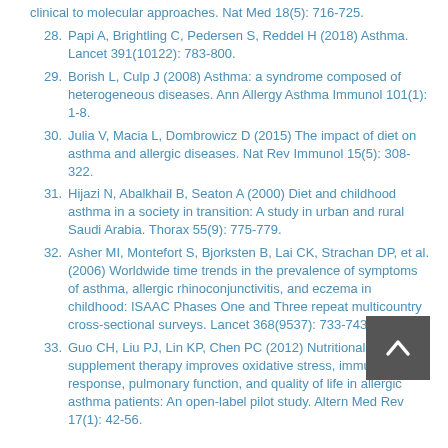clinical to molecular approaches. Nat Med 18(5): 716-725.
28. Papi A, Brightling C, Pedersen S, Reddel H (2018) Asthma. Lancet 391(10122): 783-800.
29. Borish L, Culp J (2008) Asthma: a syndrome composed of heterogeneous diseases. Ann Allergy Asthma Immunol 101(1): 1-8.
30. Julia V, Macia L, Dombrowicz D (2015) The impact of diet on asthma and allergic diseases. Nat Rev Immunol 15(5): 308-322.
31. Hijazi N, Abalkhail B, Seaton A (2000) Diet and childhood asthma in a society in transition: A study in urban and rural Saudi Arabia. Thorax 55(9): 775-779.
32. Asher MI, Montefort S, Bjorksten B, Lai CK, Strachan DP, et al. (2006) Worldwide time trends in the prevalence of symptoms of asthma, allergic rhinoconjunctivitis, and eczema in childhood: ISAAC Phases One and Three repeat multicountry cross-sectional surveys. Lancet 368(9537): 733-743.
33. Guo CH, Liu PJ, Lin KP, Chen PC (2012) Nutritional supplement therapy improves oxidative stress, immune response, pulmonary function, and quality of life in allergic asthma patients: An open-label pilot study. Altern Med Rev 17(1): 42-56.